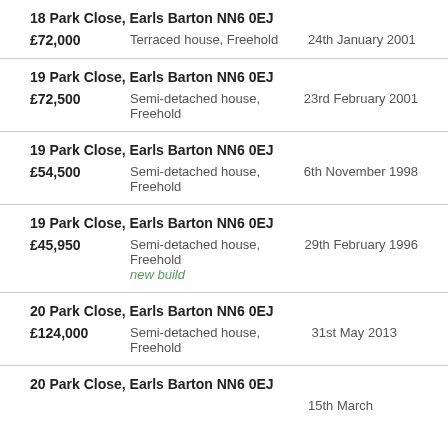18 Park Close, Earls Barton NN6 0EJ
£72,000   Terraced house, Freehold   24th January 2001
19 Park Close, Earls Barton NN6 0EJ
£72,500   Semi-detached house, Freehold   23rd February 2001
19 Park Close, Earls Barton NN6 0EJ
£54,500   Semi-detached house, Freehold   6th November 1998
19 Park Close, Earls Barton NN6 0EJ
£45,950   Semi-detached house, Freehold / new build   29th February 1996
20 Park Close, Earls Barton NN6 0EJ
£124,000   Semi-detached house, Freehold   31st May 2013
20 Park Close, Earls Barton NN6 0EJ
15th March